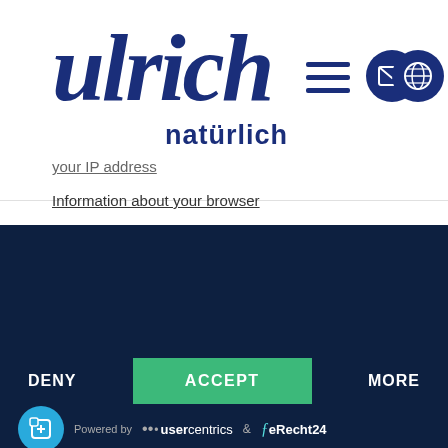[Figure (logo): Ulrich natürlich brand logo with cursive script 'Ulrich' in dark navy blue above the word 'natürlich' in bold navy blue sans-serif, hamburger menu icon, envelope and globe icons]
your IP address
Information about your browser
This site uses third-party website tracking technologies to provide and continually improve our services, and to display advertisements according to users' interests. I agree and may revoke or change my consent at any time with effect for the future.
DENY
ACCEPT
MORE
Powered by usercentrics & eRecht24